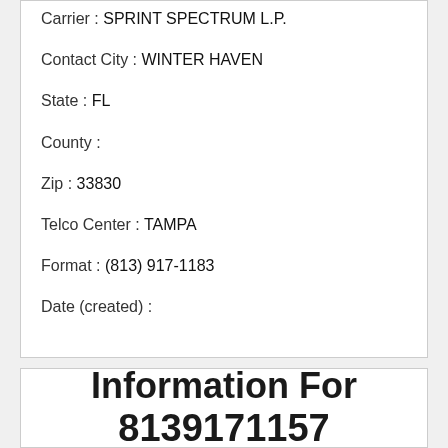Carrier:  SPRINT SPECTRUM L.P.
Contact City:  WINTER HAVEN
State:  FL
County:
Zip:  33830
Telco Center:  TAMPA
Format:  (813) 917-1183
Date (created):
Information For 8139171157